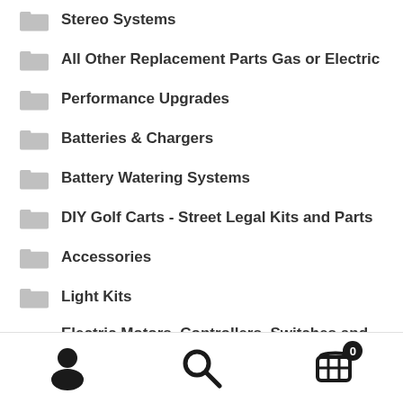Stereo Systems
All Other Replacement Parts Gas or Electric
Performance Upgrades
Batteries & Chargers
Battery Watering Systems
DIY Golf Carts - Street Legal Kits and Parts
Accessories
Light Kits
Electric Motors, Controllers, Switches and Solenoids
Bodies, Truck Beds and Parts
Windshields and Tops
Covers Enclosures and Floor Mats
User | Search | Cart (0)